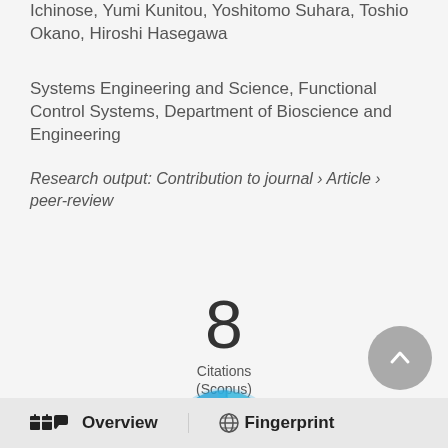Ichinose, Yumi Kunitou, Yoshitomo Suhara, Toshio Okano, Hiroshi Hasegawa
Systems Engineering and Science, Functional Control Systems, Department of Bioscience and Engineering
Research output: Contribution to journal › Article › peer-review
8
Citations
(Scopus)
[Figure (other): Altmetric donut badge showing the number 1 in a white circle surrounded by a swirling teal/blue ring]
[Figure (other): Grey circular scroll-to-top button with upward chevron arrow]
Overview   Fingerprint